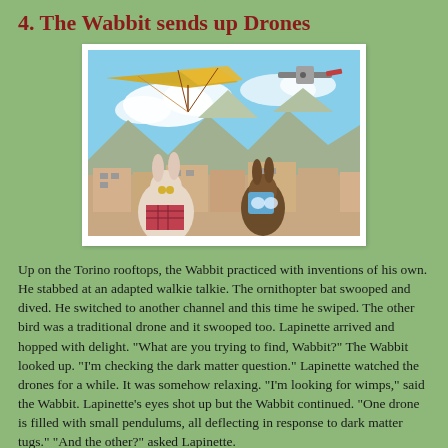4. The Wabbit sends up Drones
[Figure (photo): Two cartoon rabbit characters on Torino rooftops with an ornithopter (hang glider style drone) and a traditional fixed-wing drone flying overhead against a cloudy sky with mountains in background.]
Up on the Torino rooftops, the Wabbit practiced with inventions of his own. He stabbed at an adapted walkie talkie. The ornithopter bat swooped and dived. He switched to another channel and this time he swiped. The other bird was a traditional drone and it swooped too. Lapinette arrived and hopped with delight. "What are you trying to find, Wabbit?" The Wabbit looked up. "I'm checking the dark matter question." Lapinette watched the drones for a while. It was somehow relaxing. "I'm looking for wimps," said the Wabbit. Lapinette's eyes shot up but the Wabbit continued. "One drone is filled with small pendulums, all deflecting in response to dark matter tugs." "And the other?" asked Lapinette.